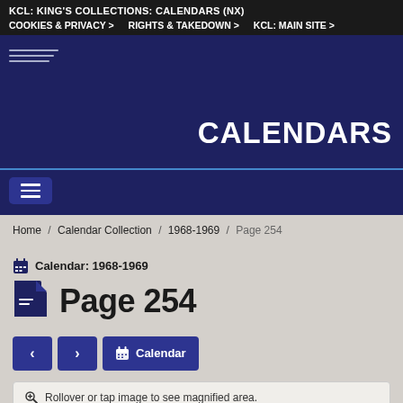KCL: KING'S COLLECTIONS: CALENDARS (NX)
COOKIES & PRIVACY > | RIGHTS & TAKEDOWN > | KCL: MAIN SITE >
CALENDARS
Home / Calendar Collection / 1968-1969 / Page 254
Calendar: 1968-1969
Page 254
< > Calendar
Rollover or tap image to see magnified area.